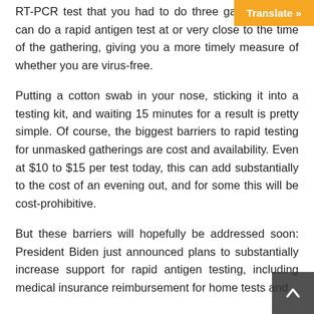RT-PCR test that you had to do three [days before] gathering, you can do a rapid antigen test at or very close to the time of the gathering, giving you a more timely measure of whether you are virus-free.
Putting a cotton swab in your nose, sticking it into a testing kit, and waiting 15 minutes for a result is pretty simple. Of course, the biggest barriers to rapid testing for unmasked gatherings are cost and availability. Even at $10 to $15 per test today, this can add substantially to the cost of an evening out, and for some this will be cost-prohibitive.
But these barriers will hopefully be addressed soon: President Biden just announced plans to substantially increase support for rapid antigen testing, including medical insurance reimbursement for home tests and